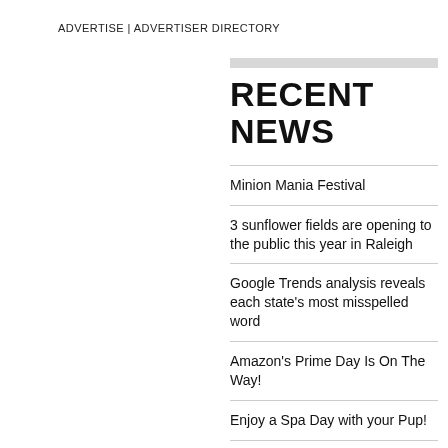ADVERTISE | ADVERTISER DIRECTORY
RECENT NEWS
Minion Mania Festival
3 sunflower fields are opening to the public this year in Raleigh
Google Trends analysis reveals each state's most misspelled word
Amazon's Prime Day Is On The Way!
Enjoy a Spa Day with your Pup!
Celebrate National Donut Day!
Celebrate National Donut Day!
The Pimento Cheese Festival is BACK!